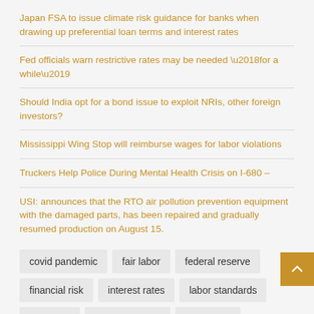Japan FSA to issue climate risk guidance for banks when drawing up preferential loan terms and interest rates
Fed officials warn restrictive rates may be needed ‘for a while’
Should India opt for a bond issue to exploit NRIs, other foreign investors?
Mississippi Wing Stop will reimburse wages for labor violations
Truckers Help Police During Mental Health Crisis on I-680 –
USI: announces that the RTO air pollution prevention equipment with the damaged parts, has been repaired and gradually resumed production on August 15.
covid pandemic   fair labor   federal reserve   financial risk   interest rates   labor standards   long term   public relations   real estate   savings bonds   short term   standards act